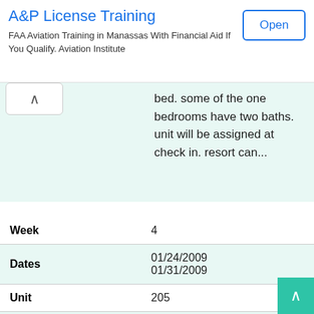[Figure (screenshot): Ad banner for A&P License Training — FAA Aviation Training in Manassas with Financial Aid. Open button visible.]
bed. some of the one bedrooms have two baths. unit will be assigned at check in. resort can...
[Figure (other): See picture button (teal rounded button)]
| Field | Value |
| --- | --- |
| Week | 4 |
| Dates | 01/24/2009
01/31/2009 |
| Unit | 205 |
| Beds/Baths | 1 / 1 |